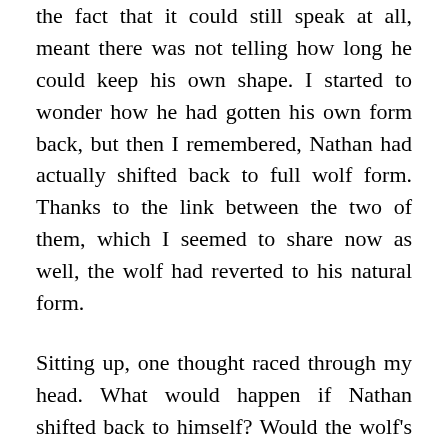the fact that it could still speak at all, meant there was not telling how long he could keep his own shape. I started to wonder how he had gotten his own form back, but then I remembered, Nathan had actually shifted back to full wolf form. Thanks to the link between the two of them, which I seemed to share now as well, the wolf had reverted to his natural form.
Sitting up, one thought raced through my head. What would happen if Nathan shifted back to himself? Would the wolf's form change too? I suspected that's exactly what would happen, which meant I had both myself and my new furry friend the heck out of there and quick. The million dollar question was, how?
I turned to look at the window the wolf had come through earlier. I wasn't too high and both of us could easily slip